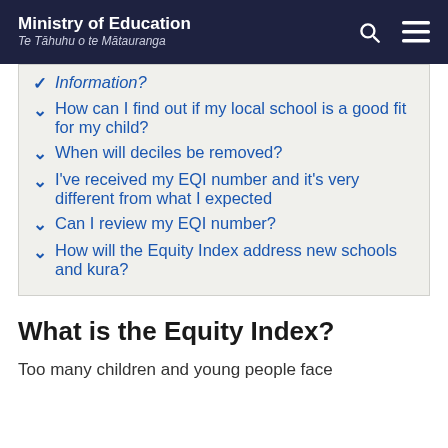Ministry of Education
Te Tāhuhu o te Mātauranga
Information?
How can I find out if my local school is a good fit for my child?
When will deciles be removed?
I've received my EQI number and it's very different from what I expected
Can I review my EQI number?
How will the Equity Index address new schools and kura?
What is the Equity Index?
Too many children and young people face